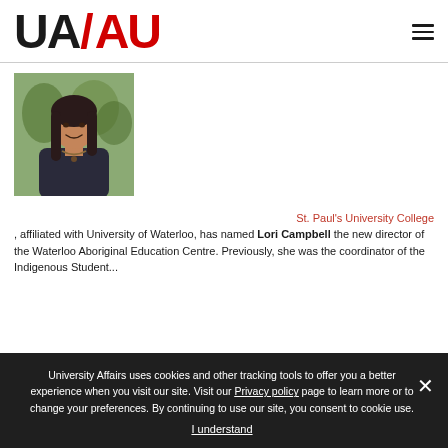UA/AU logo and navigation
[Figure (photo): Portrait photo of a woman with dark hair, wearing a dark jacket, smiling, with trees in background]
St. Paul's University College, affiliated with University of Waterloo, has named Lori Campbell the new director of the Waterloo Aboriginal Education Centre. Previously, she was the coordinator of the Indigenous Student...
University Affairs uses cookies and other tracking tools to offer you a better experience when you visit our site. Visit our Privacy policy page to learn more or to change your preferences. By continuing to use our site, you consent to cookie use.
I understand